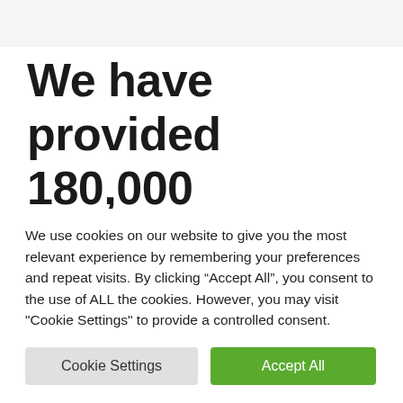We have provided 180,000 scholarships for girls in the last period as the corona
We use cookies on our website to give you the most relevant experience by remembering your preferences and repeat visits. By clicking “Accept All”, you consent to the use of ALL the cookies. However, you may visit "Cookie Settings" to provide a controlled consent.